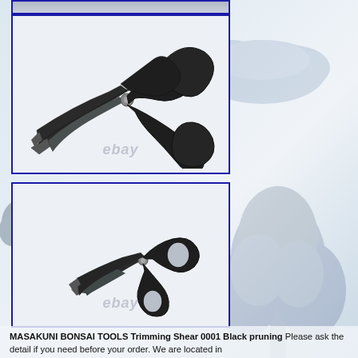[Figure (photo): Close-up photo of Masakuni bonsai trimming shears (large), black metal, with ebay watermark. Blue border frame.]
[Figure (photo): Photo of Masakuni bonsai trimming shears (small/full view), black metal, with ebay watermark. Blue border frame.]
MASAKUNI BONSAI TOOLS Trimming Shear 0001 Black pruning... Please ask the detail if you need before your order. We are located in...